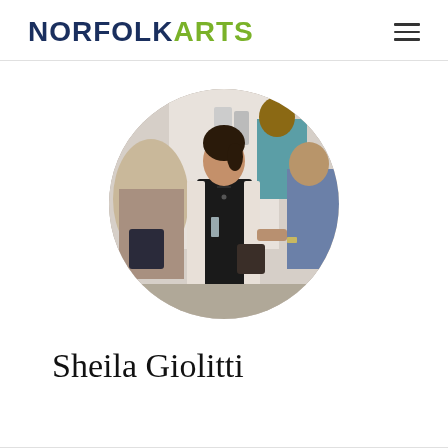NORFOLKARTS
[Figure (photo): Circular cropped photo of Sheila Giolitti at an art gallery event, wearing black outfit with white cardigan, holding a glass, surrounded by other attendees]
Sheila Giolitti